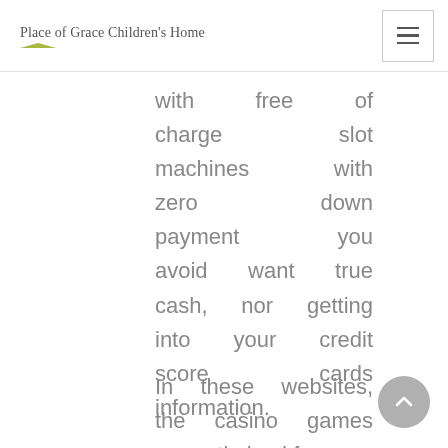Place of Grace Children's Home
with free of charge slot machines with zero down payment you avoid want true cash, nor getting into your credit score cards information.
In these websites, the casino games are optimized for